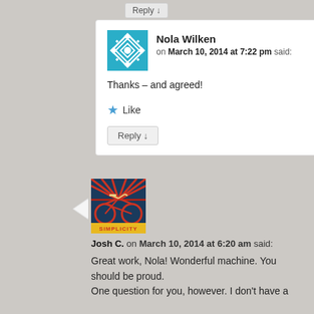Reply ↓
Nola Wilken on March 10, 2014 at 7:22 pm said:
Thanks – and agreed!
Like
Reply ↓
[Figure (photo): Josh C. avatar - illustration of a bicycle with SIMPLICITY text]
Josh C. on March 10, 2014 at 6:20 am said:
Great work, Nola! Wonderful machine. You should be proud.
One question for you, however. I don't have a